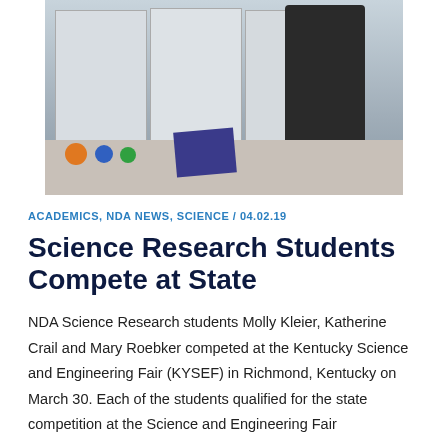[Figure (photo): A student in a dark blazer standing in front of science fair display boards. A table in the foreground has colorful items including orange, blue, and green objects, and a dark blue notebook. The background shows multiple tri-fold poster boards.]
ACADEMICS, NDA NEWS, SCIENCE / 04.02.19
Science Research Students Compete at State
NDA Science Research students Molly Kleier, Katherine Crail and Mary Roebker competed at the Kentucky Science and Engineering Fair (KYSEF) in Richmond, Kentucky on March 30. Each of the students qualified for the state competition at the Science and Engineering Fair